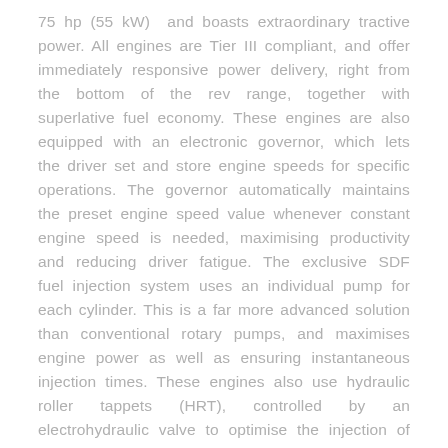75 hp (55 kW) and boasts extraordinary tractive power. All engines are Tier III compliant, and offer immediately responsive power delivery, right from the bottom of the rev range, together with superlative fuel economy. These engines are also equipped with an electronic governor, which lets the driver set and store engine speeds for specific operations. The governor automatically maintains the preset engine speed value whenever constant engine speed is needed, maximising productivity and reducing driver fatigue. The exclusive SDF fuel injection system uses an individual pump for each cylinder. This is a far more advanced solution than conventional rotary pumps, and maximises engine power as well as ensuring instantaneous injection times. These engines also use hydraulic roller tappets (HRT), controlled by an electrohydraulic valve to optimise the injection of fuel into the combustion chamber. These engines are extraordinarily tractable, with generous torque available even at very low engine speeds, but are